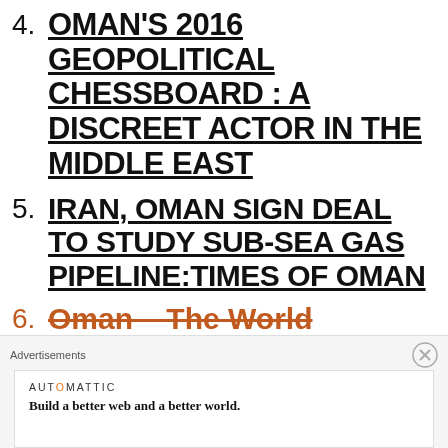4. OMAN'S 2016 GEOPOLITICAL CHESSBOARD : A DISCREET ACTOR IN THE MIDDLE EAST
5. IRAN, OMAN SIGN DEAL TO STUDY SUB-SEA GAS PIPELINE:TIMES OF OMAN
6. Oman – The World Factbook
Advertisements
AUTOMATTIC — Build a better web and a better world.